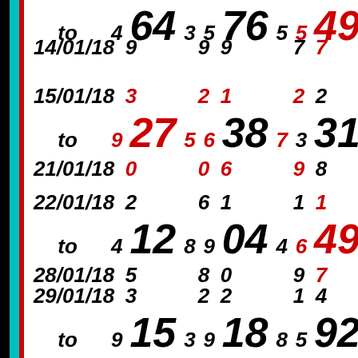| date | col1 | big1 | col2 | col3 | big2 | col4 | col5 | big3 |
| --- | --- | --- | --- | --- | --- | --- | --- | --- |
| to / 14/01/18 | 4 9 | 64 | 3 9 | 5 9 | 76 | 5 7 | 5 7 | 49 |
| 15/01/18 / to / 21/01/18 | 3 9 0 | 27 | 2 5 0 | 1 6 6 | 38 | 2 7 9 | 2 3 8 | 31 |
| 22/01/18 / to / 28/01/18 | 2 4 5 | 12 | 6 8 8 | 1 9 0 | 04 | 1 4 9 | 1 6 7 | 49 |
| 29/01/18 / to / 04/02/18 | 3 9 9 | 15 | 2 3 0 | 2 9 0 | 18 | 1 8 9 | 4 5 0 | 92 |